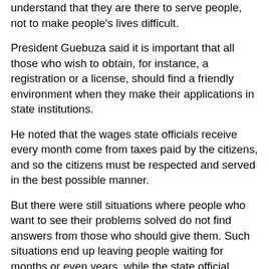understand that they are there to serve people, not to make people's lives difficult.
President Guebuza said it is important that all those who wish to obtain, for instance, a registration or a license, should find a friendly environment when they make their applications in state institutions.
He noted that the wages state officials receive every month come from taxes paid by the citizens, and so the citizens must be respected and served in the best possible manner.
But there were still situations where people who want to see their problems solved do not find answers from those who should give them. Such situations end up leaving people waiting for months or even years, while the state official knows perfectly well what should be done.
"The civil servant must find answers to people's problems, because the pen he is using, the chair where he sits, the paper and all other materials that he uses are purchased with tax payers' money", said President Guebuza to the applause of the participants.
Solving people's problems is one of the central objectives of the government programme. He explained that for the state